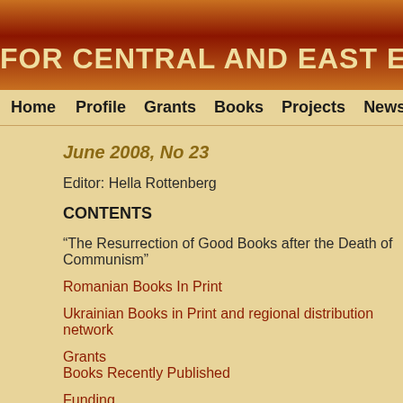FOR CENTRAL AND EAST EUROPEAN BO
Home   Profile   Grants   Books   Projects   News   P
June 2008, No 23
Editor: Hella Rottenberg
CONTENTS
“The Resurrection of Good Books after the Death of Communism”
Romanian Books In Print
Ukrainian Books in Print and regional distribution network
Grants
Books Recently Published
Funding